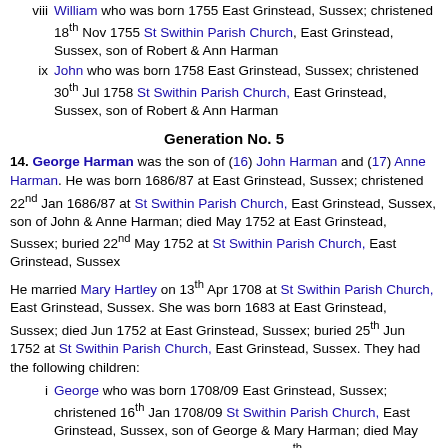viii William who was born 1755 East Grinstead, Sussex; christened 18th Nov 1755 St Swithin Parish Church, East Grinstead, Sussex, son of Robert & Ann Harman
ix John who was born 1758 East Grinstead, Sussex; christened 30th Jul 1758 St Swithin Parish Church, East Grinstead, Sussex, son of Robert & Ann Harman
Generation No. 5
14. George Harman was the son of (16) John Harman and (17) Anne Harman. He was born 1686/87 at East Grinstead, Sussex; christened 22nd Jan 1686/87 at St Swithin Parish Church, East Grinstead, Sussex, son of John & Anne Harman; died May 1752 at East Grinstead, Sussex; buried 22nd May 1752 at St Swithin Parish Church, East Grinstead, Sussex
He married Mary Hartley on 13th Apr 1708 at St Swithin Parish Church, East Grinstead, Sussex. She was born 1683 at East Grinstead, Sussex; died Jun 1752 at East Grinstead, Sussex; buried 25th Jun 1752 at St Swithin Parish Church, East Grinstead, Sussex. They had the following children:
i George who was born 1708/09 East Grinstead, Sussex; christened 16th Jan 1708/09 St Swithin Parish Church, East Grinstead, Sussex, son of George & Mary Harman; died May 1787 East Grinstead, Sussex; buried 12th May 1787 St Swithin Parish Church, East Grinstead, Sussex
Anne who was born 1711/12 East Grinstead, Sussex;